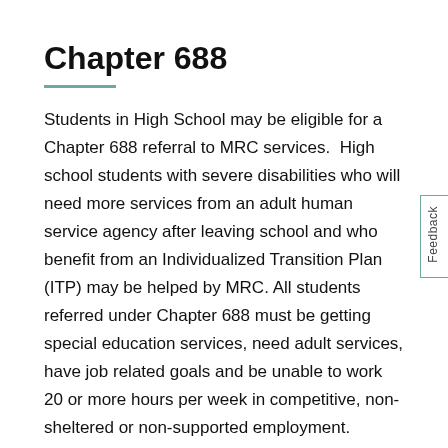Chapter 688
Students in High School may be eligible for a Chapter 688 referral to MRC services.  High school students with severe disabilities who will need more services from an adult human service agency after leaving school and who benefit from an Individualized Transition Plan (ITP) may be helped by MRC. All students referred under Chapter 688 must be getting special education services, need adult services, have job related goals and be unable to work 20 or more hours per week in competitive, non-sheltered or non-supported employment. Referrals should be made by the Local Education Agency (LEA) within two years of the student's graduation for which they have...